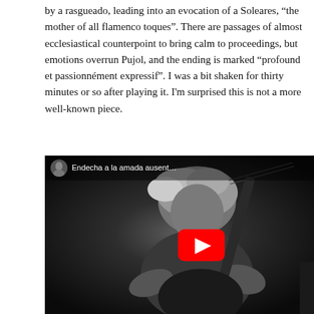by a rasgueado, leading into an evocation of a Soleares, "the mother of all flamenco toques". There are passages of almost ecclesiastical counterpoint to bring calm to proceedings, but emotions overrun Pujol, and the ending is marked "profound et passionnément expressif". I was a bit shaken for thirty minutes or so after playing it. I'm surprised this is not a more well-known piece.
[Figure (screenshot): YouTube video embed showing a black-and-white video of a man playing classical guitar, with the title 'Endecha a la amada ausent...' displayed in the YouTube player interface with a red play button in the center.]